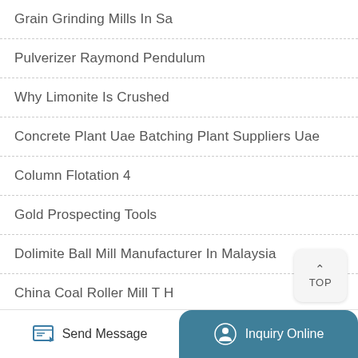Grain Grinding Mills In Sa
Pulverizer Raymond Pendulum
Why Limonite Is Crushed
Concrete Plant Uae Batching Plant Suppliers Uae
Column Flotation 4
Gold Prospecting Tools
Dolimite Ball Mill Manufacturer In Malaysia
China Coal Roller Mill T H
Single Coke Crusher
Send Message | Inquiry Online